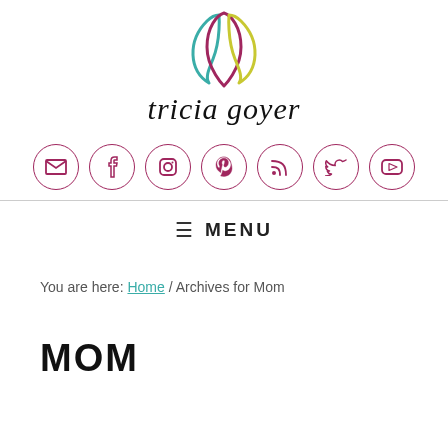[Figure (logo): Tricia Goyer logo: stylized lotus/leaf shape in teal, magenta and yellow-green, with cursive 'tricia goyer' text below]
[Figure (infographic): Row of 7 social media icon circles (email, Facebook, Instagram, Pinterest, RSS, Twitter, YouTube) in magenta outline style]
≡ MENU
You are here: Home / Archives for Mom
MOM